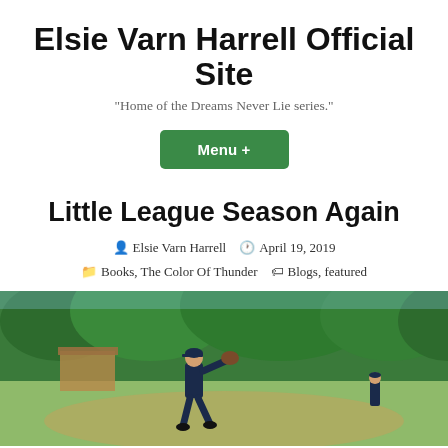Elsie Varn Harrell Official Site
"Home of the Dreams Never Lie series."
Menu +
Little League Season Again
Elsie Varn Harrell  April 19, 2019  Books, The Color Of Thunder  Blogs, featured
[Figure (photo): A young baseball pitcher in a navy uniform mid-throw on a field with green trees in the background. Another player visible in the right background.]